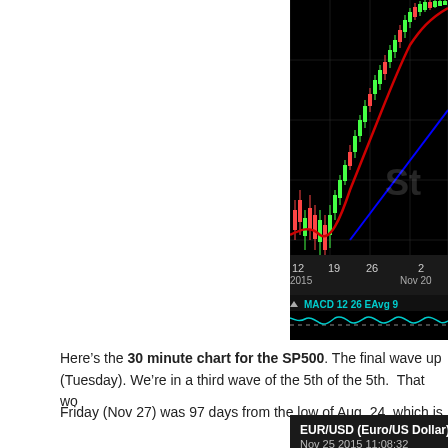[Figure (screenshot): Stock chart showing candlestick price action with red moving average curve and blue trendline on black background. Bottom panel shows MACD 12 26 EAvg 9 indicator in cyan. X-axis shows dates: 12, 19, 26 (2015) and 2 (Nov 20...). Partial view of chart cropped on right side. Watermark text 'St' visible.]
Here’s the 30 minute chart for the SP500. The final wave up (Tuesday). We’re in a third wave of the 5th of the 5th.  That wo
Friday (Nov 27) was 97 days from the low of Aug, 24, which is
[Figure (screenshot): EUR/USD (Euro/US Dollar) chart header showing Nov 25 2015 11:08:32]